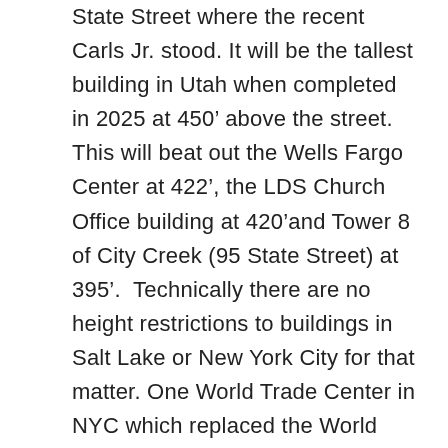State Street where the recent Carls Jr. stood. It will be the tallest building in Utah when completed in 2025 at 450’ above the street.  This will beat out the Wells Fargo Center at 422’, the LDS Church Office building at 420’and Tower 8 of City Creek (95 State Street) at 395’.  Technically there are no height restrictions to buildings in Salt Lake or New York City for that matter. One World Trade Center in NYC which replaced the World Trade Center towers is 1176’ above sea level, Central Park Tower is 1550’ and the new ‘basket’ at 30 Hudson Yards is 1270’.